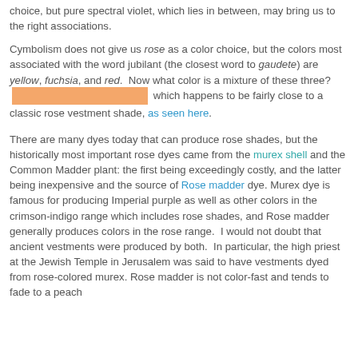choice, but pure spectral violet, which lies in between, may bring us to the right associations.
Cymbolism does not give us rose as a color choice, but the colors most associated with the word jubilant (the closest word to gaudete) are yellow, fuchsia, and red. Now what color is a mixture of these three? [color swatch] which happens to be fairly close to a classic rose vestment shade, as seen here.
There are many dyes today that can produce rose shades, but the historically most important rose dyes came from the murex shell and the Common Madder plant: the first being exceedingly costly, and the latter being inexpensive and the source of Rose madder dye. Murex dye is famous for producing Imperial purple as well as other colors in the crimson-indigo range which includes rose shades, and Rose madder generally produces colors in the rose range. I would not doubt that ancient vestments were produced by both. In particular, the high priest at the Jewish Temple in Jerusalem was said to have vestments dyed from rose-colored murex. Rose madder is not color-fast and tends to fade to a peach